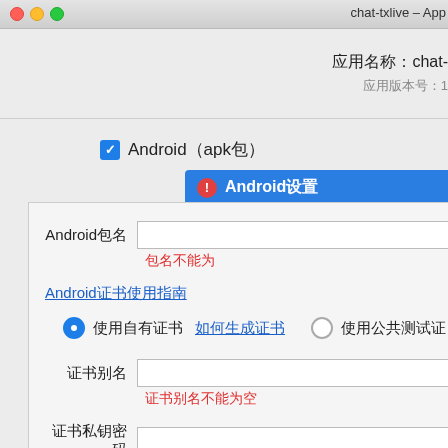chat-txlive – App
应用名称：chat-
应用版本号：1
✓ Android（apk包）
Android设置
Android包名
包名不能为
Android证书使用指南
使用自有证书 如何生成证书    使用公共测试证
证书别名
证书别名不能为空
证书私钥密码